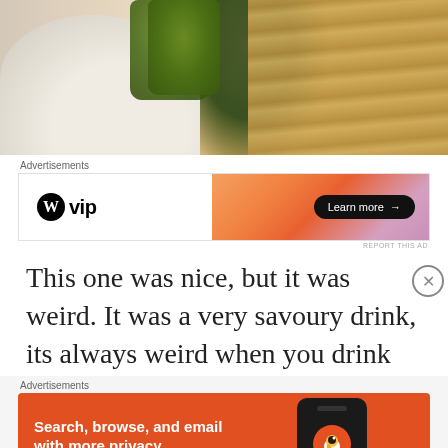[Figure (photo): A hand in a cream/white knit sleeve holding a green juice jar, with wooden background visible]
Advertisements
[Figure (screenshot): WordPress VIP banner advertisement with orange/pink gradient right side and 'Learn more →' button]
REPORT THIS AD
This one was nice, but it was weird. It was a very savoury drink, its always weird when you drink
Advertisements
[Figure (screenshot): DuckDuckGo app advertisement on orange background: 'Search, browse, and email with more privacy. All in One Free App' with phone mockup showing DuckDuckGo logo]